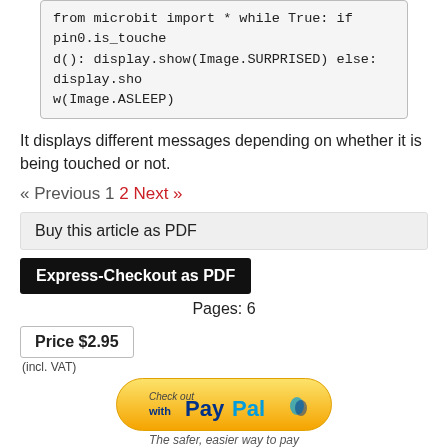from microbit import * while True: if pin0.is_touched(): display.show(Image.SURPRISED) else: display.show(Image.ASLEEP)
It displays different messages depending on whether it is being touched or not.
« Previous 1 2 Next »
Buy this article as PDF
Express-Checkout as PDF
Pages: 6
Price $2.95
(incl. VAT)
[Figure (logo): PayPal checkout button with yellow rounded rectangle and PayPal logo]
The safer, easier way to pay
Buy Raspberry Pi Geek
SINGLE ISSUES   Print Issues   Digital Issues
SUBSCRIPTIONS   Print Subs   Digisubs
TABLET & SMARTPHONE APPS